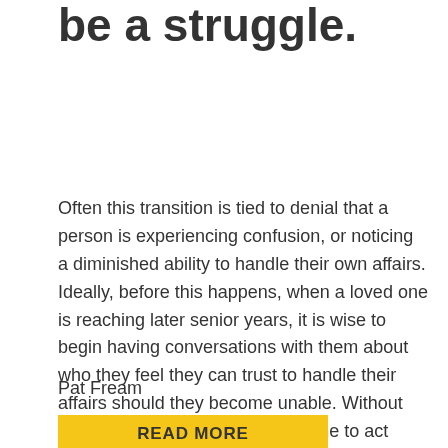be a struggle.
Often this transition is tied to denial that a person is experiencing confusion, or noticing a diminished ability to handle their own affairs. Ideally, before this happens, when a loved one is reaching later senior years, it is wise to begin having conversations with them about who they feel they can trust to handle their affairs should they become unable. Without pressing or persuading a loved one to act outside of their comfort zone, discussing the need to appoint a Power of Attorney is highly recommended.
Pat Fream
READ MORE